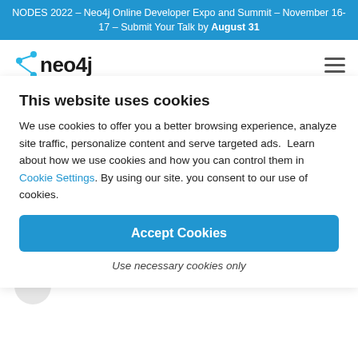NODES 2022 – Neo4j Online Developer Expo and Summit – November 16-17 – Submit Your Talk by August 31
[Figure (logo): Neo4j logo with blue dot-arrow icon and hamburger menu]
| Neo4j Blog | Back |
Financial Services &
Neo4j: Network & IT
Infrastructure
Monitoring
This website uses cookies
We use cookies to offer you a better browsing experience, analyze site traffic, personalize content and serve targeted ads.  Learn about how we use cookies and how you can control them in Cookie Settings. By using our site. you consent to our use of cookies.
Accept Cookies
Use necessary cookies only